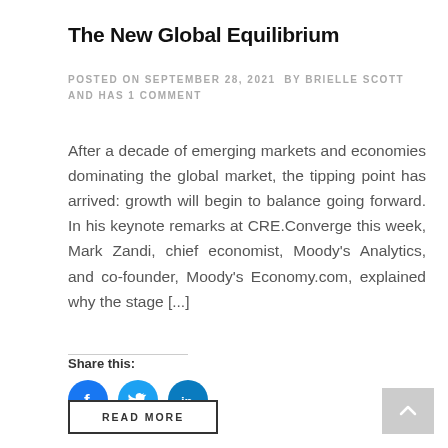The New Global Equilibrium
POSTED ON SEPTEMBER 28, 2021  BY BRIELLE SCOTT  AND HAS 1 COMMENT
After a decade of emerging markets and economies dominating the global market, the tipping point has arrived: growth will begin to balance going forward. In his keynote remarks at CRE.Converge this week, Mark Zandi, chief economist, Moody's Analytics, and co-founder, Moody's Economy.com, explained why the stage [...]
Share this:
[Figure (infographic): Three circular social media share buttons: Facebook (blue circle with f icon), Twitter (light blue circle with bird icon), LinkedIn (teal-blue circle with in icon)]
READ MORE